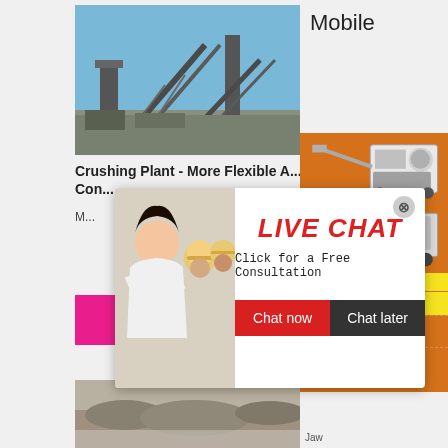[Figure (photo): Crushing plant facility with large conveyor belt structures and industrial equipment against a blue sky]
Crushing Plant - More Flexible A... Con...
M...
[Figure (other): Live chat popup overlay with woman in white shirt and colleagues wearing yellow helmets, with LIVE CHAT title and Chat now / Chat later buttons]
Read More
[Figure (photo): Rocky landscape or quarry site at bottom of page]
Mobile
[Figure (photo): Orange sidebar with crusher machine images]
Enjoy 3% discount
Click to Chat
Enquiry
limingjlmofen@sina.com
Jaw